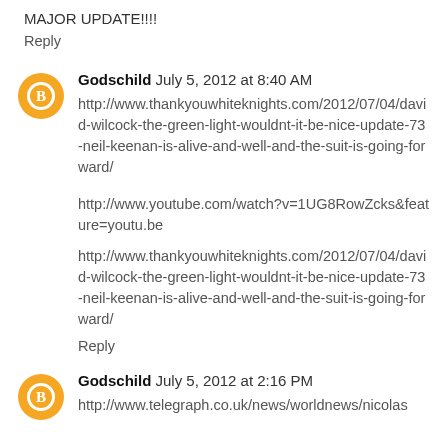MAJOR UPDATE!!!!
Reply
Godschild July 5, 2012 at 8:40 AM
http://www.thankyouwhiteknights.com/2012/07/04/david-wilcock-the-green-light-wouldnt-it-be-nice-update-73-neil-keenan-is-alive-and-well-and-the-suit-is-going-forward/
http://www.youtube.com/watch?v=1UG8RowZcks&feature=youtu.be
http://www.thankyouwhiteknights.com/2012/07/04/david-wilcock-the-green-light-wouldnt-it-be-nice-update-73-neil-keenan-is-alive-and-well-and-the-suit-is-going-forward/
Reply
Godschild July 5, 2012 at 2:16 PM
http://www.telegraph.co.uk/news/worldnews/nicolas...